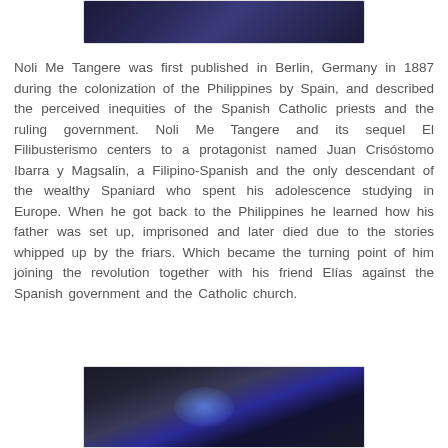[Figure (photo): Photo at top of page, dark blue-toned image, partially cropped]
Noli Me Tangere was first published in Berlin, Germany in 1887 during the colonization of the Philippines by Spain, and described the perceived inequities of the Spanish Catholic priests and the ruling government. Noli Me Tangere and its sequel El Filibusterismo centers to a protagonist named Juan Crisóstomo Ibarra y Magsalin, a Filipino-Spanish and the only descendant of the wealthy Spaniard who spent his adolescence studying in Europe. When he got back to the Philippines he learned how his father was set up, imprisoned and later died due to the stories whipped up by the friars. Which became the turning point of him joining the revolution together with his friend Elías against the Spanish government and the Catholic church.
[Figure (photo): Photo at bottom of page, dark building exterior with blue light glow, partially cropped]